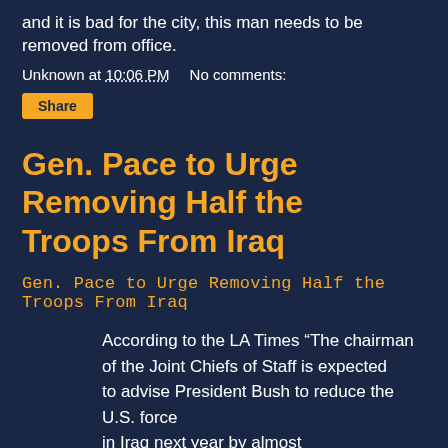and it is bad for the city, this man needs to be removed from office.
Unknown at 10:06 PM   No comments:
Share
Gen. Pace to Urge Removing Half the Troops From Iraq
Gen. Pace to Urge Removing Half the Troops From Iraq
According to the LA Times “The chairman of the Joint Chiefs of Staff is expected to advise President Bush to reduce the U.S. force in Iraq next year by almost half, potentially creating a rift with top White House officials and other military commanders over the course of the war.